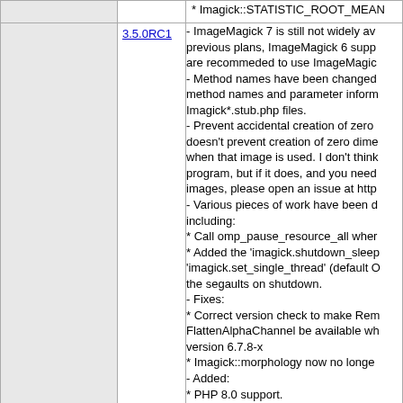|  |  | * Imagick::STATISTIC_ROOT_MEAN |
|  | 3.5.0RC1 | - ImageMagick 7 is still not widely av... - Method names have been changed... - Prevent accidental creation of zero... - Various pieces of work have been done including: * Call omp_pause_resource_all whe... * Added the 'imagick.shutdown_sleep... 'imagick.set_single_thread' (default O... the segaults on shutdown. - Fixes: * Correct version check to make Rem... FlattenAlphaChannel be available wh... version 6.7.8-x * Imagick::morphology now no longe... - Added: * PHP 8.0 support. * Location check for ImageMagick 7... * Imagick::houghLineImage(int $widt... {} |